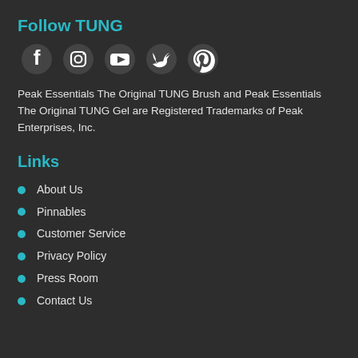Follow TUNG
[Figure (illustration): Five social media icons in white on dark background: Facebook, Instagram, YouTube, Twitter, Pinterest]
Peak Essentials The Original TUNG Brush and Peak Essentials The Original TUNG Gel are Registered Trademarks of Peak Enterprises, Inc.
Links
About Us
Pinnables
Customer Service
Privacy Policy
Press Room
Contact Us